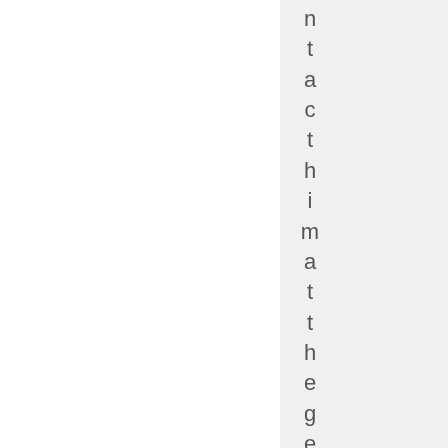ntachimattthegeneralVirtualRDC